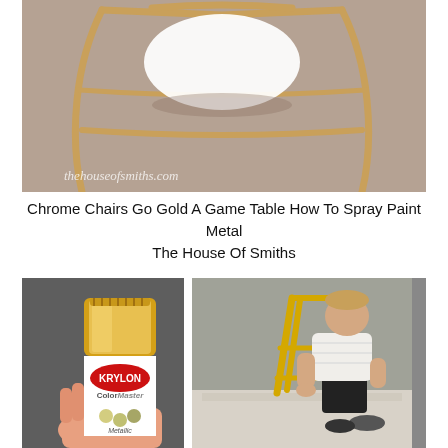[Figure (photo): Gold-painted metal folding chair legs on beige/tan carpet, with white seat. Watermark 'thehouseofsmiths.com' in lower left corner.]
Chrome Chairs Go Gold A Game Table How To Spray Paint Metal The House Of Smiths
[Figure (photo): Hand holding a Krylon ColorMaster Metallic spray paint can with gold metallic finish.]
[Figure (photo): Man crouching down spray painting a metal folding chair gold/yellow in a garage, with a bicycle visible in the background.]